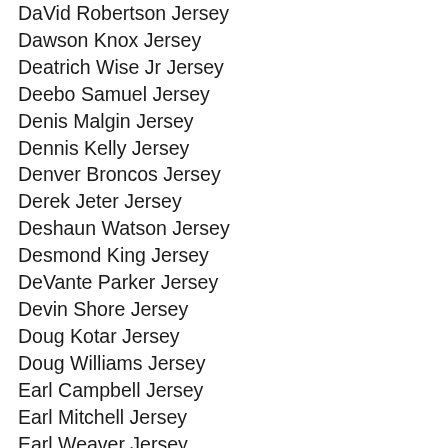DaVid Robertson Jersey
Dawson Knox Jersey
Deatrich Wise Jr Jersey
Deebo Samuel Jersey
Denis Malgin Jersey
Dennis Kelly Jersey
Denver Broncos Jersey
Derek Jeter Jersey
Deshaun Watson Jersey
Desmond King Jersey
DeVante Parker Jersey
Devin Shore Jersey
Doug Kotar Jersey
Doug Williams Jersey
Earl Campbell Jersey
Earl Mitchell Jersey
Earl Weaver Jersey
Ed Dickson Jersey